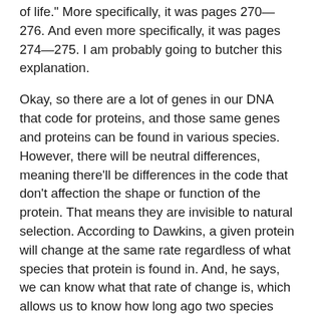of life." More specifically, it was pages 270—276. And even more specifically, it was pages 274—275. I am probably going to butcher this explanation.
Okay, so there are a lot of genes in our DNA that code for proteins, and those same genes and proteins can be found in various species. However, there will be neutral differences, meaning there'll be differences in the code that don't affection the shape or function of the protein. That means they are invisible to natural selection. According to Dawkins, a given protein will change at the same rate regardless of what species that protein is found in. And, he says, we can know what that rate of change is, which allows us to know how long ago two species branched off from each other, i.e. how long ago their common ancestor lived. Unfortunately, Dawkins doesn't tell us how we know about the mutation rate (unless it's somewhere else in the book and I missed it).
Let's suppose we have five different species, and we want to see how they are related to each other on a family tree. Well, we can look at the same protein in all five species, and by comparing them, we can tell how they are related to each